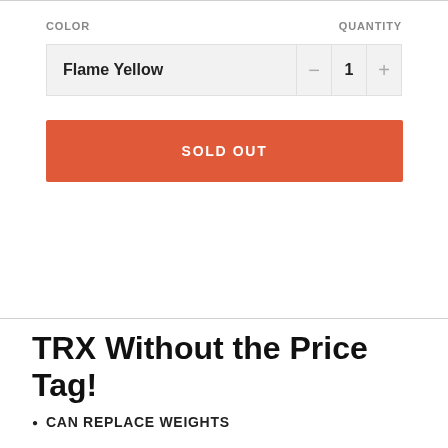COLOR
QUANTITY
Flame Yellow
1
SOLD OUT
TRX Without the Price Tag!
CAN REPLACE WEIGHTS